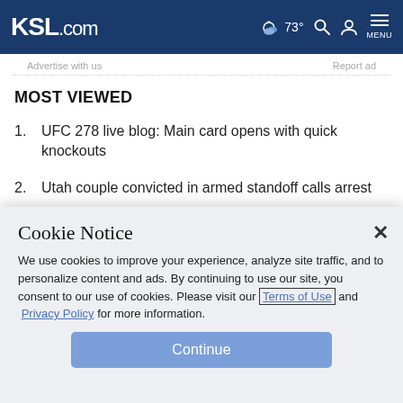KSL.com — 73° — MENU
Advertise with us    Report ad
MOST VIEWED
1. UFC 278 live blog: Main card opens with quick knockouts
2. Utah couple convicted in armed standoff calls arrest
Cookie Notice
We use cookies to improve your experience, analyze site traffic, and to personalize content and ads. By continuing to use our site, you consent to our use of cookies. Please visit our Terms of Use and Privacy Policy for more information.
Continue